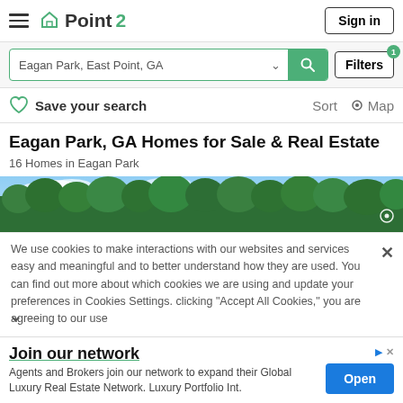Point2
Eagan Park, East Point, GA
Save your search   Sort   Map
Eagan Park, GA Homes for Sale & Real Estate
16 Homes in Eagan Park
[Figure (photo): Aerial/street view photo of Eagan Park showing trees and blue sky]
We use cookies to make interactions with our websites and services easy and meaningful and to better understand how they are used. You can find out more about which cookies we are using and update your preferences in Cookies Settings. clicking "Accept All Cookies," you are agreeing to our use
Join our network
Agents and Brokers join our network to expand their Global Luxury Real Estate Network. Luxury Portfolio Int.